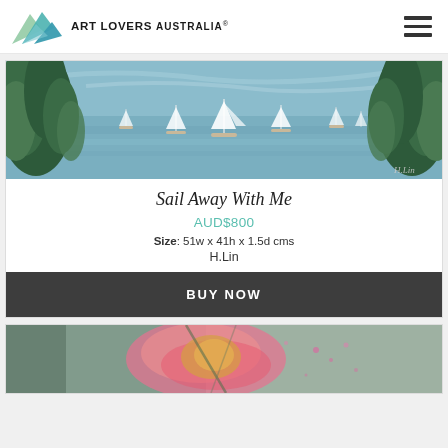Art Lovers Australia
[Figure (photo): Painting of sailboats on blue water flanked by tall green pine trees, titled 'Sail Away With Me' by H.Lin]
Sail Away With Me
AUD$800
Size: 51w x 41h x 1.5d cms
H.Lin
BUY NOW
[Figure (photo): Partial view of another painting with pink, green and gold tones, likely a floral or abstract artwork]